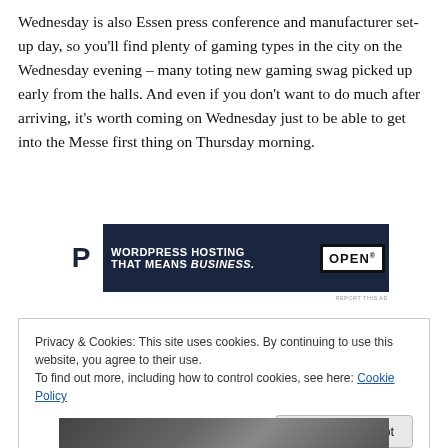Wednesday is also Essen press conference and manufacturer set-up day, so you'll find plenty of gaming types in the city on the Wednesday evening – many toting new gaming swag picked up early from the halls. And even if you don't want to do much after arriving, it's worth coming on Wednesday just to be able to get into the Messe first thing on Thursday morning.
[Figure (other): Advertisement banner: WordPress Hosting That Means Business. with P logo and OPEN sign image]
REPORT THIS AD
Privacy & Cookies: This site uses cookies. By continuing to use this website, you agree to their use.
To find out more, including how to control cookies, see here: Cookie Policy
Close and accept
[Figure (photo): Bottom portion of a photo showing people at what appears to be a gaming event]